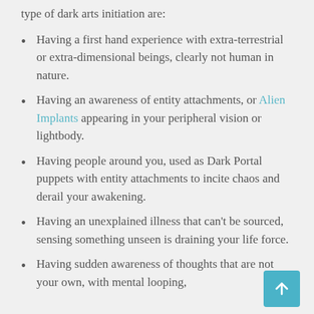type of dark arts initiation are:
Having a first hand experience with extra-terrestrial or extra-dimensional beings, clearly not human in nature.
Having an awareness of entity attachments, or Alien Implants appearing in your peripheral vision or lightbody.
Having people around you, used as Dark Portal puppets with entity attachments to incite chaos and derail your awakening.
Having an unexplained illness that can't be sourced, sensing something unseen is draining your life force.
Having sudden awareness of thoughts that are not your own, with mental looping,